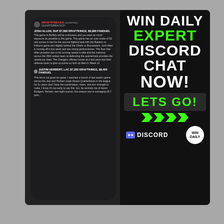[Figure (screenshot): Advertisement image showing a phone with a Discord chat about DFS (Daily Fantasy Sports) quarterback picks including Josh Allen and Justin Herbert, alongside promotional text 'WIN DAILY EXPERT DISCORD CHAT NOW! LETS GO!' with Discord and Win Daily logos.]